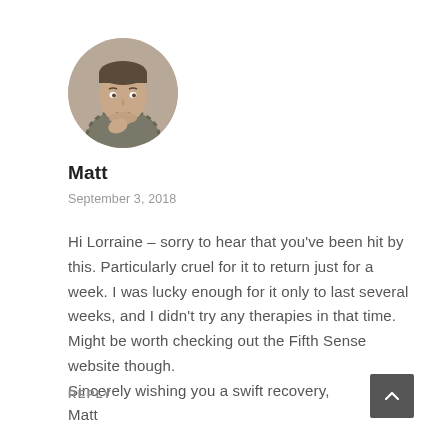[Figure (photo): Circular avatar photo of a man (Matt), middle-aged, wearing a plaid shirt, light background]
Matt
September 3, 2018
Hi Lorraine – sorry to hear that you've been hit by this. Particularly cruel for it to return just for a week. I was lucky enough for it only to last several weeks, and I didn't try any therapies in that time. Might be worth checking out the Fifth Sense website though.
Sincerely wishing you a swift recovery,
Matt
REPLY